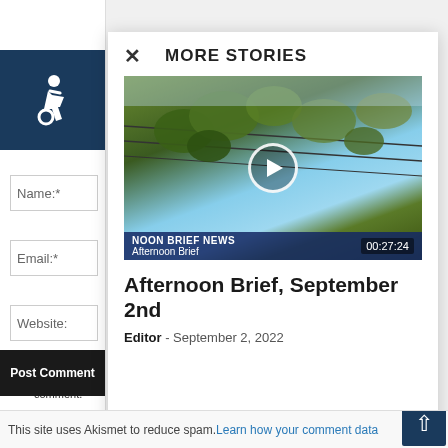[Figure (illustration): Accessibility icon (wheelchair symbol) on dark navy blue background]
Name:*
Email:*
Website:
Save my name comment.
Post Comment
MORE STORIES
[Figure (screenshot): Video thumbnail showing grape leaves against sky with power lines. Overlay shows NOON BRIEF NEWS banner, Afternoon Brief label, play button, and timestamp 00:27:24]
Afternoon Brief, September 2nd
Editor - September 2, 2022
This site uses Akismet to reduce spam. Learn how your comment data